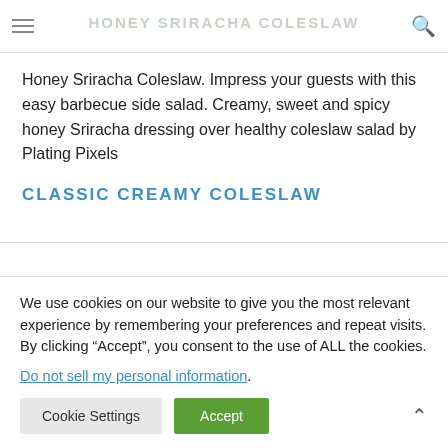HONEY SRIRACHA COLESLAW
Honey Sriracha Coleslaw. Impress your guests with this easy barbecue side salad. Creamy, sweet and spicy honey Sriracha dressing over healthy coleslaw salad by Plating Pixels
CLASSIC CREAMY COLESLAW
We use cookies on our website to give you the most relevant experience by remembering your preferences and repeat visits. By clicking “Accept”, you consent to the use of ALL the cookies.
Do not sell my personal information.
Cookie Settings | Accept